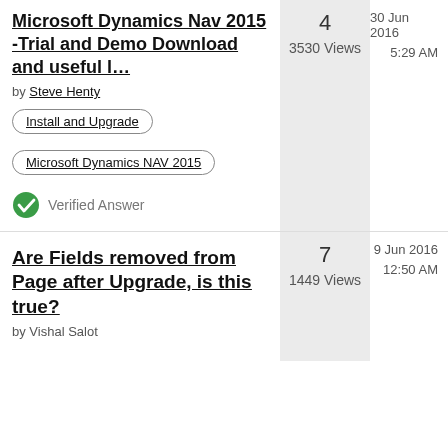Microsoft Dynamics Nav 2015 -Trial and Demo Download and useful l... by Steve Henty
Install and Upgrade
Microsoft Dynamics NAV 2015
Verified Answer
4
3530 Views
30 Jun 2016
5:29 AM
Are Fields removed from Page after Upgrade, is this true? by Vishal Salot
7
1449 Views
9 Jun 2016
12:50 AM